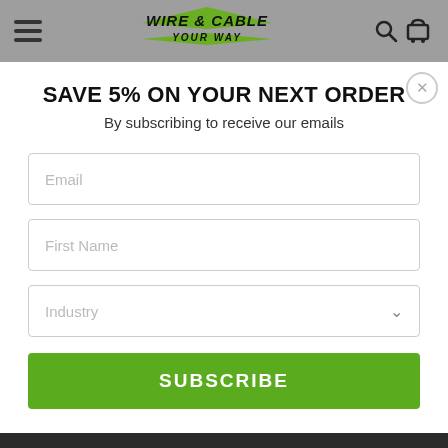[Figure (logo): Wire & Cable Your Way logo with green chevron/ribbon shape, italic bold text]
SAVE 5% ON YOUR NEXT ORDER
By subscribing to receive our emails
Email
First Name
Industry
SUBSCRIBE
CUSTOMER SUPPORT
Order Support